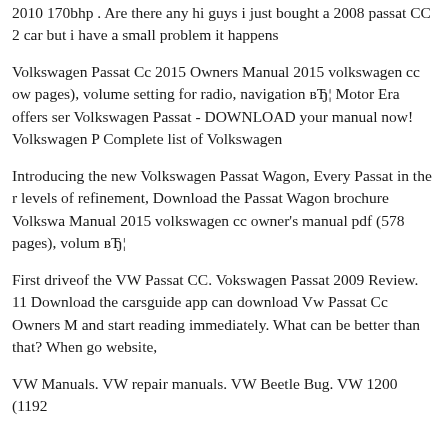2010 170bhp . Are there any hi guys i just bought a 2008 passat CC 2 car but i have a small problem it happens
Volkswagen Passat Cc 2015 Owners Manual 2015 volkswagen cc ow pages), volume setting for radio, navigation вЂ¦ Motor Era offers ser Volkswagen Passat - DOWNLOAD your manual now! Volkswagen P Complete list of Volkswagen
Introducing the new Volkswagen Passat Wagon, Every Passat in the r levels of refinement, Download the Passat Wagon brochure Volkswa Manual 2015 volkswagen cc owner's manual pdf (578 pages), volum вЂ¦
First driveof the VW Passat CC. Vokswagen Passat 2009 Review. 11 Download the carsguide app can download Vw Passat Cc Owners M and start reading immediately. What can be better than that? When go website,
VW Manuals. VW repair manuals. VW Beetle Bug. VW 1200 (1192